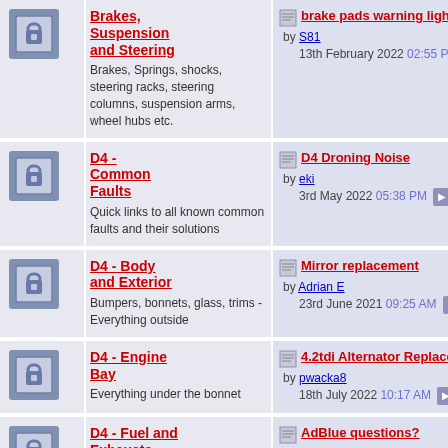| Icon | Forum | Last Post | Count | Count2 |
| --- | --- | --- | --- | --- |
| [icon] | Brakes, Suspension and Steering
Brakes, Springs, shocks, steering racks, steering columns, suspension arms, wheel hubs etc. | brake pads warning light
by S81
13th February 2022 02:55 PM | 27 | 4 |
| [icon] | D4 - Common Faults
Quick links to all known common faults and their solutions | D4 Droning Noise
by eki
3rd May 2022 05:38 PM | 5 | 9 |
| [icon] | D4 - Body and Exterior
Bumpers, bonnets, glass, trims - Everything outside | Mirror replacement
by Adrian E
23rd June 2021 09:25 AM | 14 | 1 |
| [icon] | D4 - Engine Bay
Everything under the bonnet | 4.2tdi Alternator Replacement
by pwacka8
18th July 2022 10:17 AM | 19 | 1 |
| [icon] | D4 - Fuel and Exhausts
Everything to do with getting fuel | AdBlue questions?
by GlynH | 2 | 1 |